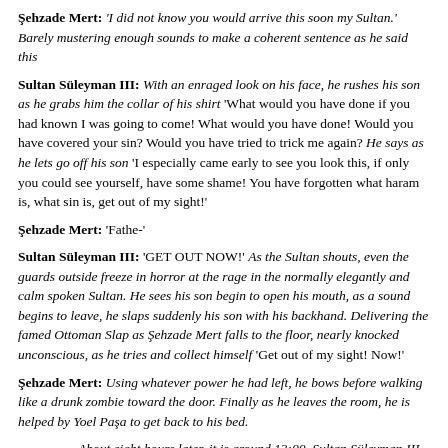Şehzade Mert: 'I did not know you would arrive this soon my Sultan.' Barely mustering enough sounds to make a coherent sentence as he said this
Sultan Süleyman III: With an enraged look on his face, he rushes his son as he grabs him the collar of his shirt 'What would you have done if you had known I was going to come! What would you have done! Would you have covered your sin? Would you have tried to trick me again? He says as he lets go off his son 'I especially came early to see you look this, if only you could see yourself, have some shame! You have forgotten what haram is, what sin is, get out of my sight!'
Şehzade Mert: 'Fathe-'
Sultan Süleyman III: 'GET OUT NOW!' As the Sultan shouts, even the guards outside freeze in horror at the rage in the normally elegantly and calm spoken Sultan. He sees his son begin to open his mouth, as a sound begins to leave, he slaps suddenly his son with his backhand. Delivering the famed Ottoman Slap as Şehzade Mert falls to the floor, nearly knocked unconscious, as he tries and collect himself 'Get out of my sight! Now!'
Şehzade Mert: Using whatever power he had left, he bows before walking like a drunk zombie toward the door. Finally as he leaves the room, he is helped by Yoel Paşa to get back to his bed.
About eight hours later, it is around 13:00. Sultan Süleyman III is sitting calmly on the terrace of the palace, he reads of multiple news laws he plans to pass to expand the welfare of the Ottoman people. After finally completing his review, he signals for one of his servants to bring his personal seccade (prayer rug), choosing to pray on the terrace. As he approaching the outstreet, waving his chest to pray in